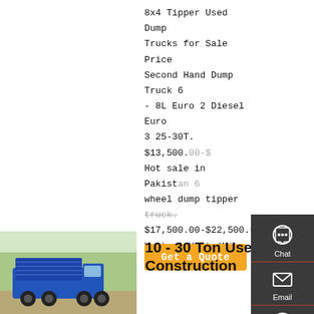8x4 Tipper Used Dump Trucks for Sale Price Second Hand Dump Truck 6 - 8L Euro 2 Diesel Euro 3 25-30T. $13,500.00-$ Hot sale in Pakistan 6 wheel dump tipper truck. $17,500.00-$22,500.00 Unit. 1 Unit (Min. Order) CN Shiyan
[Figure (other): Orange 'Get a Quote' button]
[Figure (other): Sidebar with Chat, Email, Contact, and Top navigation icons on dark background]
[Figure (photo): Blue dump truck / tipper truck photo, outdoors with trees in background]
10 - 30 Ton Used Construction